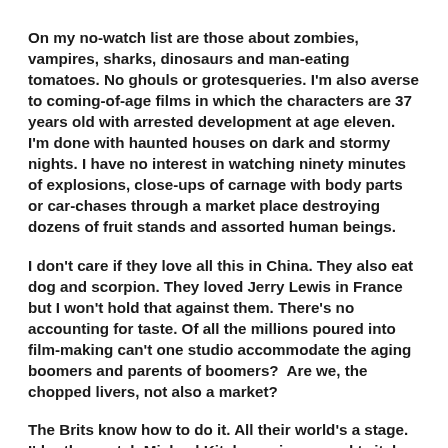On my no-watch list are those about zombies, vampires, sharks, dinosaurs and man-eating tomatoes. No ghouls or grotesqueries. I'm also averse to coming-of-age films in which the characters are 37 years old with arrested development at age eleven. I'm done with haunted houses on dark and stormy nights. I have no interest in watching ninety minutes of explosions, close-ups of carnage with body parts or car-chases through a market place destroying dozens of fruit stands and assorted human beings.
I don't care if they love all this in China. They also eat dog and scorpion. They loved Jerry Lewis in France but I won't hold that against them. There's no accounting for taste. Of all the millions poured into film-making can't one studio accommodate the aging boomers and parents of boomers?  Are we, the chopped livers, not also a market?
The Brits know how to do it. All their world's a stage. I'd rather watch Michael Kitchen grimace and twitch than